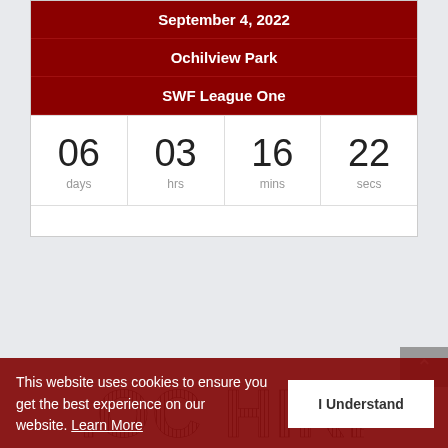September 4, 2022
Ochilview Park
SWF League One
| days | hrs | mins | secs |
| --- | --- | --- | --- |
| 06 | 03 | 16 | 22 |
[Figure (logo): LOC HIRE logo in large striped/lined block letters]
This website uses cookies to ensure you get the best experience on our website. Learn More
I Understand
[Figure (logo): R. Brown & Son logo partially visible at bottom]